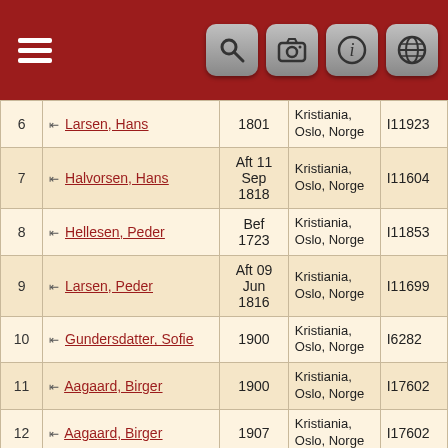[Figure (screenshot): Mobile app header bar with dark red background, hamburger menu icon on left, and four icon buttons (search, camera, info, globe) on right]
| # | Name | Date | Place | ID |
| --- | --- | --- | --- | --- |
| 6 | Larsen, Hans | 1801 | Kristiania, Oslo, Norge | I11923 |
| 7 | Halvorsen, Hans | Aft 11 Sep 1818 | Kristiania, Oslo, Norge | I11604 |
| 8 | Hellesen, Peder | Bef 1723 | Kristiania, Oslo, Norge | I11853 |
| 9 | Larsen, Peder | Aft 09 Jun 1816 | Kristiania, Oslo, Norge | I11699 |
| 10 | Gundersdatter, Sofie | 1900 | Kristiania, Oslo, Norge | I6282 |
| 11 | Aagaard, Birger | 1900 | Kristiania, Oslo, Norge | I17602 |
| 12 | Aagaard, Birger | 1907 | Kristiania, Oslo, Norge | I17602 |
| 13 | Aagaard, Bjarne | 1910 | Kristiania, Oslo, Norge | I17601 |